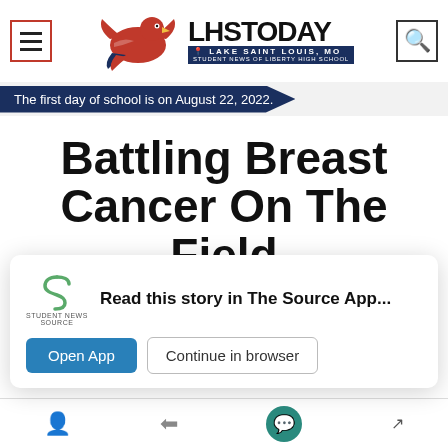[Figure (logo): LHSTODAY logo with red eagle mascot and navy blue banner reading LAKE SAINT LOUIS, MO — STUDENT NEWS OF LIBERTY HIGH SCHOOL]
The first day of school is on August 22, 2022.
Battling Breast Cancer On The Field
Ally Schniepp, Sports Editor of The Ledger
October 26, 2021
Read this story in The Source App...
Oct. 15 when the Eagles took on the Fort Zumatt...